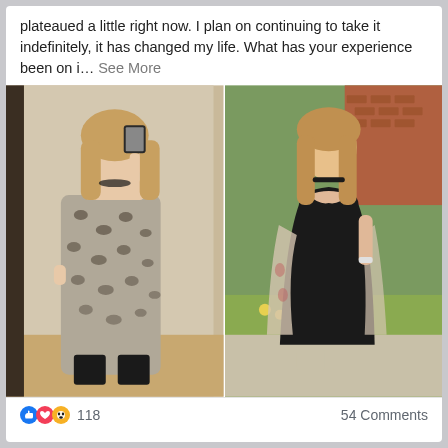plateaued a little right now. I plan on continuing to take it indefinitely, it has changed my life. What has your experience been on i… See More
[Figure (photo): Left photo: Woman in leopard print dress taking a mirror selfie indoors. Right photo: Woman in black dress standing outdoors near brick building.]
118   54 Comments